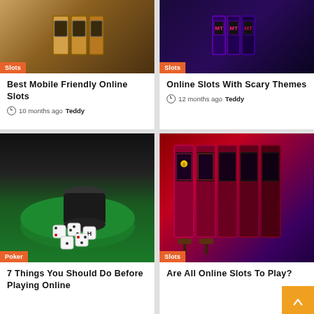[Figure (photo): Casino slot machines with orange 'Slots' badge]
Best Mobile Friendly Online Slots
10 months ago  Teddy
[Figure (photo): Purple-lit slot machines with orange 'Slots' badge]
Online Slots With Scary Themes
12 months ago  Teddy
[Figure (photo): Poker dice on green felt with orange 'Poker' badge]
7 Things You Should Do Before Playing Online
[Figure (photo): Row of colorful slot machines with orange 'Slots' badge]
Are All Online Slots To Play?